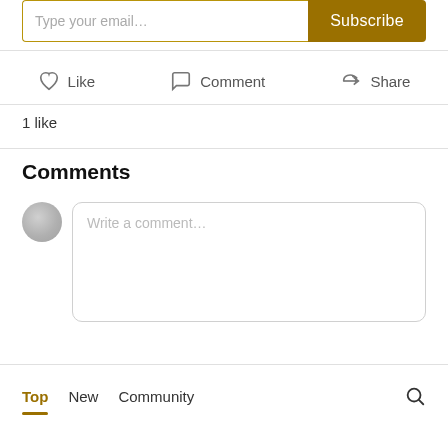[Figure (screenshot): Email subscription input and Subscribe button]
Like   Comment   Share
1 like
Comments
[Figure (screenshot): User avatar with Write a comment... text input box]
Top   New   Community